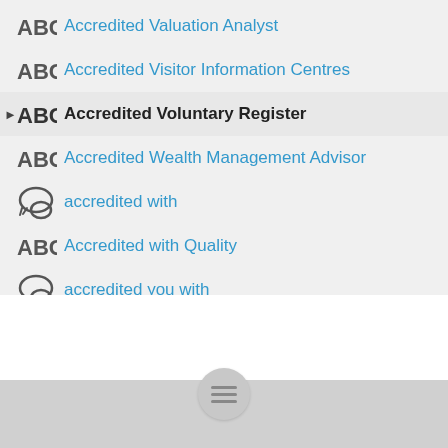Accredited Valuation Analyst
Accredited Visitor Information Centres
Accredited Voluntary Register
Accredited Wealth Management Advisor
accredited with
Accredited with Quality
accredited you with